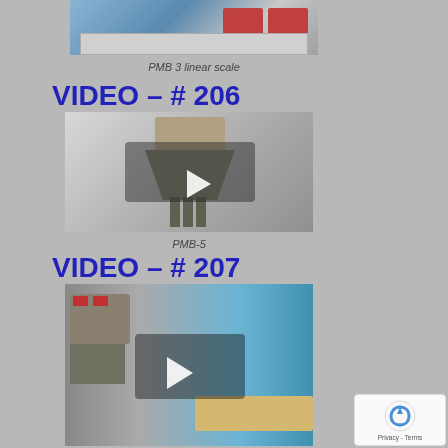[Figure (screenshot): Video thumbnail of PMB 3 linear scale machine with play button overlay]
PMB 3 linear scale
VIDEO – # 206
[Figure (screenshot): Video thumbnail of PMB-5 machine (multi-head weigher/feeder) with play button overlay]
PMB-5
VIDEO – # 207
[Figure (screenshot): Video thumbnail showing industrial food processing conveyor/weighing equipment with play button overlay]